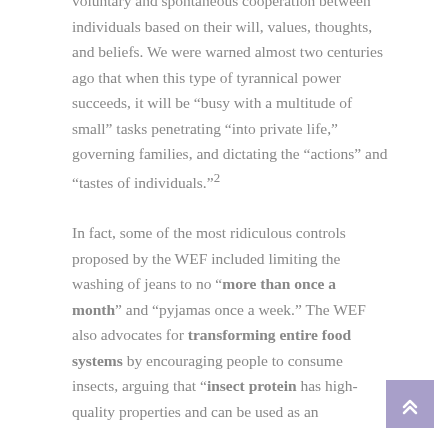voluntary and spontaneous cooperation between individuals based on their will, values, thoughts, and beliefs. We were warned almost two centuries ago that when this type of tyrannical power succeeds, it will be “busy with a multitude of small” tasks penetrating “into private life,” governing families, and dictating the “actions” and “tastes of individuals.”2
In fact, some of the most ridiculous controls proposed by the WEF included limiting the washing of jeans to no “more than once a month” and “pyjamas once a week.” The WEF also advocates for transforming entire food systems by encouraging people to consume insects, arguing that “insect protein has high-quality properties and can be used as an